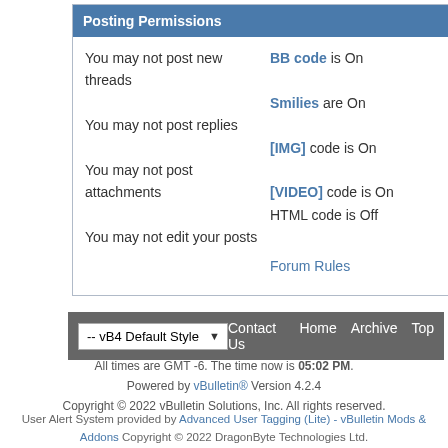Posting Permissions
| You may not post new threads | BB code is On |
| You may not post replies | Smilies are On |
| You may not post attachments | [IMG] code is On |
| You may not edit your posts | [VIDEO] code is On |
|  | HTML code is Off |
|  | Forum Rules |
-- vB4 Default Style   Contact Us  Home  Archive  Top
All times are GMT -6. The time now is 05:02 PM.
Powered by vBulletin® Version 4.2.4
Copyright © 2022 vBulletin Solutions, Inc. All rights reserved.
User Alert System provided by Advanced User Tagging (Lite) - vBulletin Mods & Addons Copyright © 2022 DragonByte Technologies Ltd.